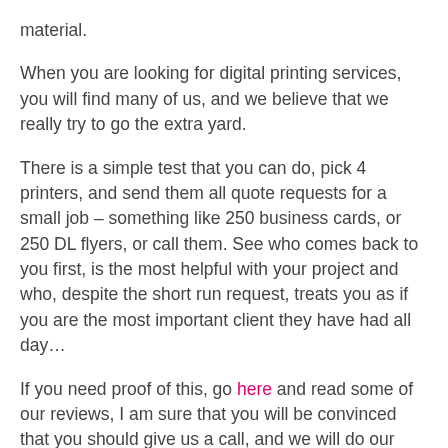material.
When you are looking for digital printing services, you will find many of us, and we believe that we really try to go the extra yard.
There is a simple test that you can do, pick 4 printers, and send them all quote requests for a small job – something like 250 business cards, or 250 DL flyers, or call them. See who comes back to you first, is the most helpful with your project and who, despite the short run request, treats you as if you are the most important client they have had all day…
If you need proof of this, go here and read some of our reviews, I am sure that you will be convinced that you should give us a call, and we will do our best to help.
We believe that we are now one of the top printers in our niche, and look forward to servicing  your printing needs